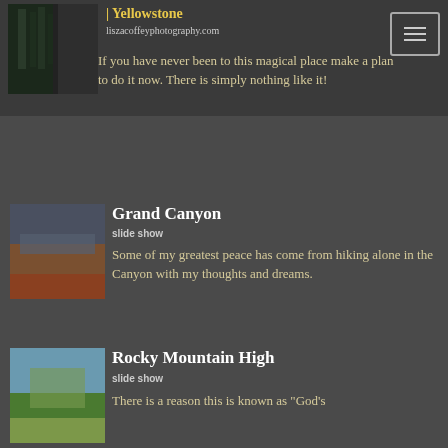Yellowstone | liszacoffeyphotography.com
If you have never been to this magical place make a plan to do it now. There is simply nothing like it!
Grand Canyon
slide show
Some of my greatest peace has come from hiking alone in the Canyon with my thoughts and dreams.
Rocky Mountain High
slide show
There is a reason this is known as "God's